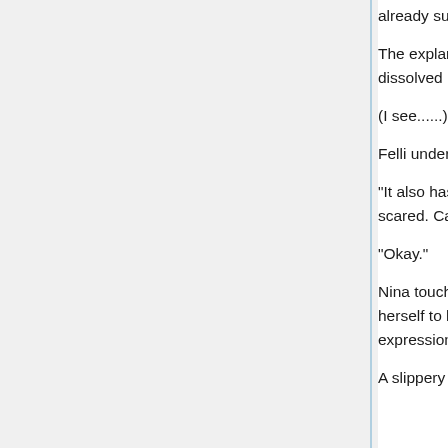already surprising, and even the hot water was jet-black.
The explanation on the wall read that a mix of several herbs was dissolved in the hot water.
(I see......)
Felli understood what the 'medicinal' Nina had mentioned meant.
"It also has low-frequency waves going through it, so don't be scared. Careful not to slip."
"Okay."
Nina touched the hot water with her foot first, then submerged herself to her shoulders. After seeing her sigh softly with an expression of comfort, Felli also entered the hot water.
A slippery feeling came to her feet, and